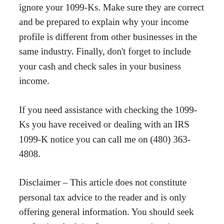so, as you can see you don't want to ignore your 1099-Ks. Make sure they are correct and be prepared to explain why your income profile is different from other businesses in the same industry. Finally, don't forget to include your cash and check sales in your business income.
If you need assistance with checking the 1099-Ks you have received or dealing with an IRS 1099-K notice you can call me on (480) 363-4808.
Disclaimer – This article does not constitute personal tax advice to the reader and is only offering general information. You should seek professional advice for your own situation as